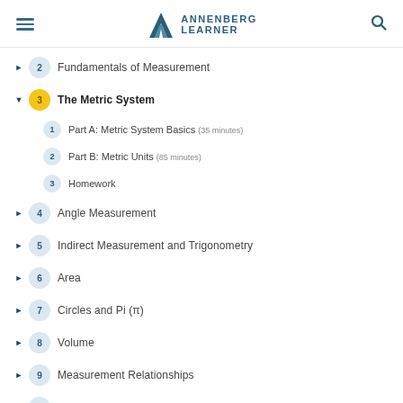Annenberg Learner
2 Fundamentals of Measurement
3 The Metric System (active/expanded)
1 Part A: Metric System Basics (35 minutes)
2 Part B: Metric Units (85 minutes)
3 Homework
4 Angle Measurement
5 Indirect Measurement and Trigonometry
6 Area
7 Circles and Pi (π)
8 Volume
9 Measurement Relationships
10 Classroom Case Studies, K-2
11 Classroom Case Studies, 3-5
12 Classroom Case Studies, 6-8